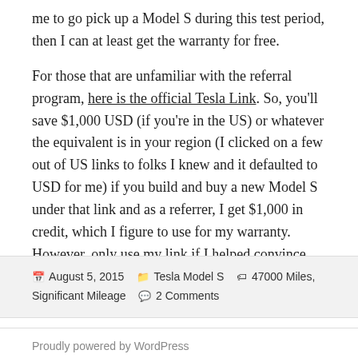me to go pick up a Model S during this test period, then I can at least get the warranty for free.

For those that are unfamiliar with the referral program, here is the official Tesla Link. So, you'll save $1,000 USD (if you're in the US) or whatever the equivalent is in your region (I clicked on a few out of US links to folks I knew and it defaulted to USD for me) if you build and buy a new Model S under that link and as a referrer, I get $1,000 in credit, which I figure to use for my warranty. However, only use my link if I helped convince you to get your Model S.
August 5, 2015   Tesla Model S   47000 Miles, Significant Mileage   2 Comments
Proudly powered by WordPress